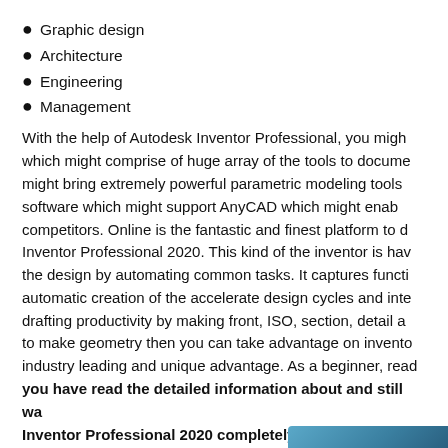Graphic design
Architecture
Engineering
Management
With the help of Autodesk Inventor Professional, you might which might comprise of huge array of the tools to docume might bring extremely powerful parametric modeling tools software which might support AnyCAD which might enab competitors. Online is the fantastic and finest platform to Inventor Professional 2020. This kind of the inventor is hav the design by automating common tasks. It captures functi automatic creation of the accelerate design cycles and inte drafting productivity by making front, ISO, section, detail a to make geometry then you can take advantage on invento industry leading and unique advantage. As a beginner, read
you have read the detailed information about and still wa Inventor Professional 2020 completely, you can try the g